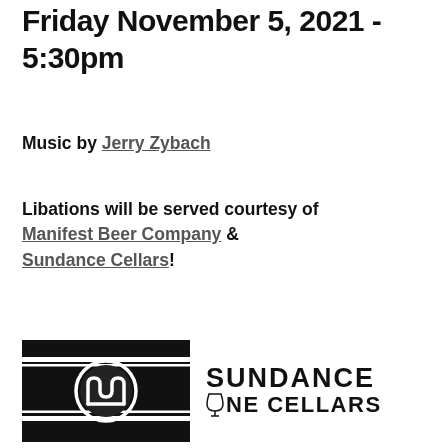Friday November 5, 2021 - 5:30pm
Music by Jerry Zybach
Libations will be served courtesy of Manifest Beer Company & Sundance Cellars!
[Figure (logo): Manifest Beer Company logo (black background with circular emblem and horizontal stripes) and Sundance Wine Cellars text logo side by side]